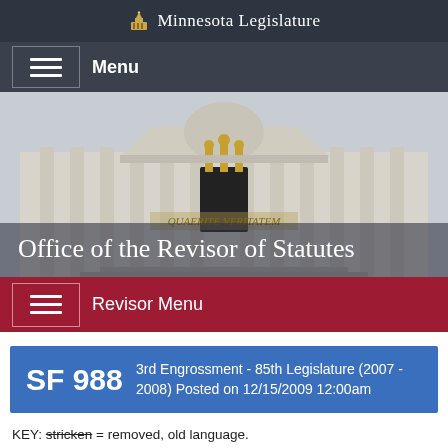Minnesota Legislature
Menu
[Figure (photo): Exterior of the Minnesota State Capitol building with classical columns and golden statues, with overlay text reading 'Office of the Revisor of Statutes']
Office of the Revisor of Statutes
Revisor Menu
SF 988   3rd Engrossment - 85th Legislature (2007 - 2008) Posted on 12/15/2009 12:00am
KEY: stricken = removed, old language.